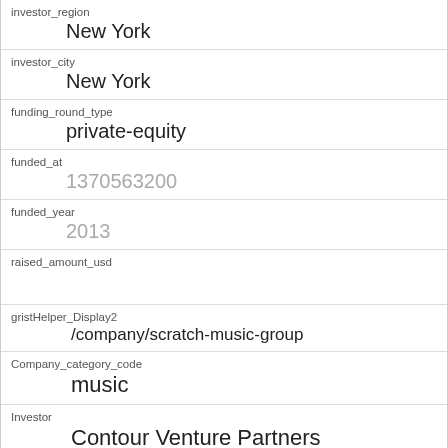| field | value |
| --- | --- |
| investor_region | New York |
| investor_city | New York |
| funding_round_type | private-equity |
| funded_at | 1370563200 |
| funded_year | 2013 |
| raised_amount_usd |  |
| gristHelper_Display2 | /company/scratch-music-group |
| Company_category_code | music |
| Investor | Contour Venture Partners
https://www.crunchbase.com/financial-organization/contour-ventures |